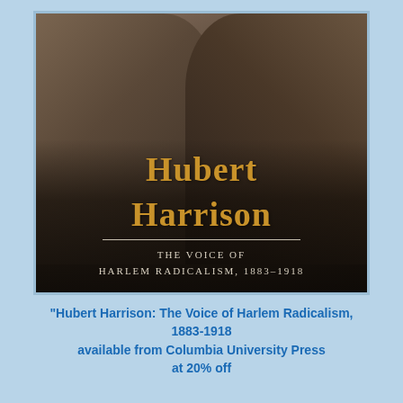[Figure (photo): Book cover of 'Hubert Harrison: The Voice of Harlem Radicalism, 1883-1918' showing a sepia-toned photograph of two men seated, with the title text overlaid in gold/orange serif font on the lower half of the cover.]
"Hubert Harrison: The Voice of Harlem Radicalism, 1883-1918 available from Columbia University Press at 20% off